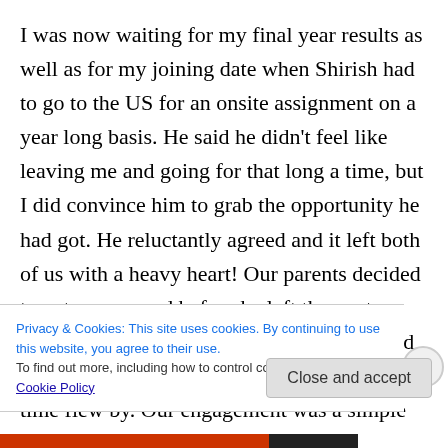I was now waiting for my final year results as well as for my joining date when Shirish had to go to the US for an onsite assignment on a year long basis. He said he didn't feel like leaving me and going for that long a time, but I did convince him to grab the opportunity he had got. He reluctantly agreed and it left both of us with a heavy heart! Our parents decided to get us engaged before he left the next weekend. We got busy with preparations and shopping that we didn't realize how fast the time flew by. Our engagement was a simple but joyous occasion with a
Privacy & Cookies: This site uses cookies. By continuing to use this website, you agree to their use.
To find out more, including how to control cookies, see here: Cookie Policy